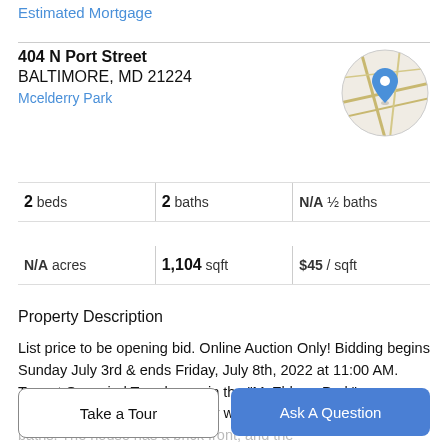Estimated Mortgage
404 N Port Street
BALTIMORE, MD 21224
Mcelderry Park
[Figure (map): Circular map thumbnail showing street map with blue location pin marker]
2 beds | 2 baths | N/A ½ baths
N/A acres | 1,104 sqft | $45 / sqft
Property Description
List price to be opening bid. Online Auction Only! Bidding begins Sunday July 3rd & ends Friday, July 8th, 2022 at 11:00 AM. Tenant Occupied Townhouse in the "McElderry Park" Neighborhood of Baltimore City with 2 bedrooms and 2 full baths. The house has a brick front, and the
Take a Tour
Ask A Question